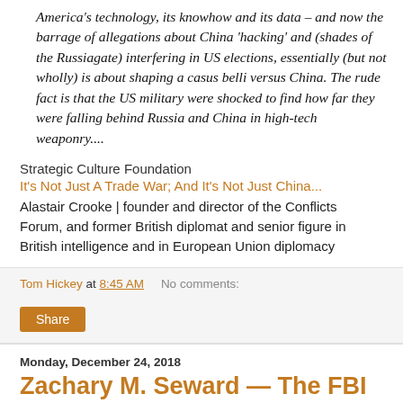America's technology, its knowhow and its data – and now the barrage of allegations about China 'hacking' and (shades of the Russiagate) interfering in US elections, essentially (but not wholly) is about shaping a casus belli versus China. The rude fact is that the US military were shocked to find how far they were falling behind Russia and China in high-tech weaponry....
Strategic Culture Foundation
It's Not Just A Trade War; And It's Not Just China...
Alastair Crooke | founder and director of the Conflicts Forum, and former British diplomat and senior figure in British intelligence and in European Union diplomacy
Tom Hickey at 8:45 AM   No comments:
Share
Monday, December 24, 2018
Zachary M. Seward — The FBI